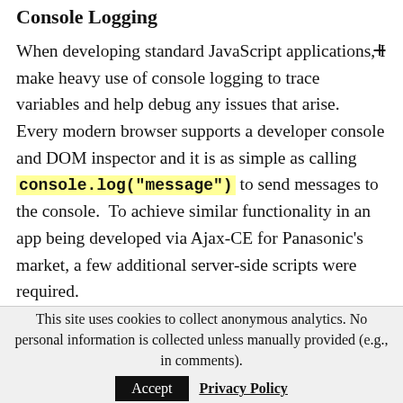Console Logging
When developing standard JavaScript applications, I make heavy use of console logging to trace variables and help debug any issues that arise.  Every modern browser supports a developer console and DOM inspector and it is as simple as calling console.log("message") to send messages to the console.  To achieve similar functionality in an app being developed via Ajax-CE for Panasonic's market, a few additional server-side scripts were required.
This site uses cookies to collect anonymous analytics. No personal information is collected unless manually provided (e.g., in comments).
Accept  Privacy Policy